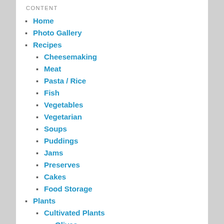CONTENT
Home
Photo Gallery
Recipes
Cheesemaking
Meat
Pasta / Rice
Fish
Vegetables
Vegetarian
Soups
Puddings
Jams
Preserves
Cakes
Food Storage
Plants
Cultivated Plants
Olives
Propagation
Goji Berry Project